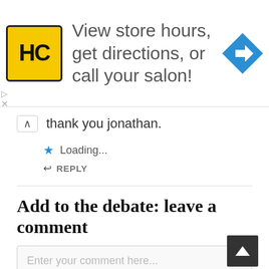[Figure (infographic): Advertisement banner: Hair Club (HC) yellow logo on left, text 'View store hours, get directions, or call your salon!' in center, blue diamond navigation arrow icon on right.]
thank you jonathan.
Loading...
REPLY
Add to the debate: leave a comment
Enter your comment here...
This site uses Akismet to reduce spam. Learn how your comment data is processed.